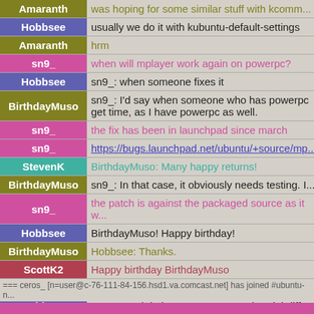| Nick | Message |
| --- | --- |
| Amaranth | was hoping for some similar stuff with kcomm... |
| Hobbsee | usually we do it with kubuntu-default-settings |
| Amaranth | hrm |
| sn9_ | when will mplayer work again on powerpc? |
| Hobbsee | sn9_: when someone fixes it |
| BirthdayMuso | sn9_: I'd say when someone who has powerpc... get time, as I have powerpc as well. |
| sn9_ | the fix has been in launchpad since march |
| sn9_ | https://bugs.launchpad.net/ubuntu/+source/mp... |
| StevenK | BirthdayMuso: Many happy returns! |
| BirthdayMuso | sn9_: In that case, it obviously needs testing. I... |
| sn9_ | the patch is against the packaged source as it w... |
| Hobbsee | BirthdayMuso!  Happy birthday! |
| BirthdayMuso | Hobbsee: Thanks. |
| ScottK2 | Happy birthday BirthdayMuso |
| Hobbsee | RAOF: consider this my warning. |
| Hobbsee | RAOF: and do i want to even see that debdiff? |
| ajmitch | heh |
| sn9_ | BirthdayMuso: fwiw, i only posted the patch in... powerpc |
=== ceros_ [n=user@c-76-111-84-156.hsd1.va.comcast.net] has joined #ubuntu-n...